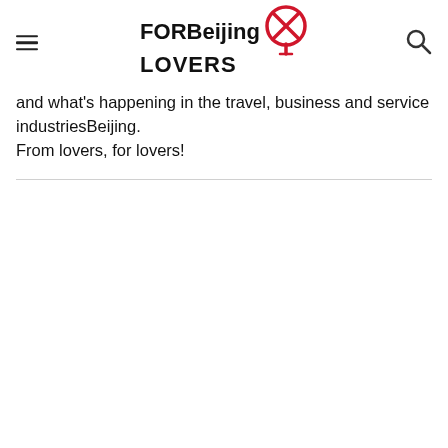FORBeijing LOVERS
and what's happening in the travel, business and service industriesBeijing.
From lovers, for lovers!